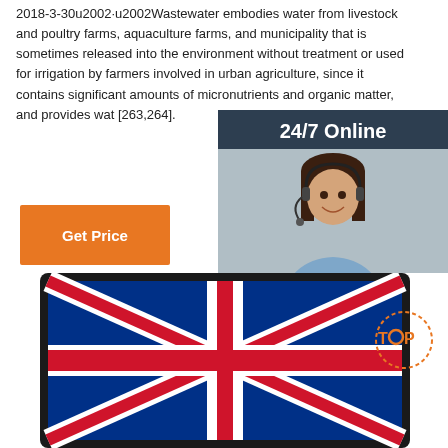2018-3-30u2002·u2002Wastewater embodies water from livestock and poultry farms, aquaculture farms, and municipality that is sometimes released into the environment without treatment or used for irrigation by farmers involved in urban agriculture, since it contains significant amounts of micronutrients and organic matter, and provides wat [263,264].
[Figure (other): 24/7 Online chat widget with a customer service representative wearing a headset, with a 'Click here for free chat!' message and an orange QUOTATION button]
[Figure (photo): Close-up photo of an embroidered Union Jack (UK flag) patch with a TOP badge overlay in the bottom right]